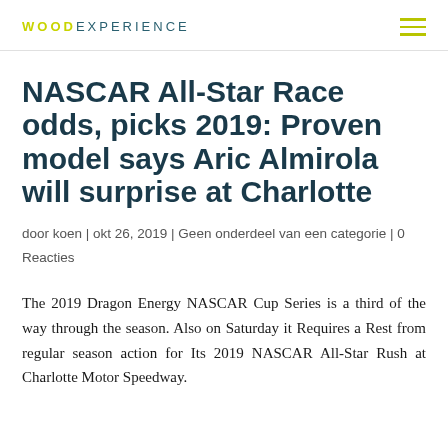WOODEXPERIENCE
NASCAR All-Star Race odds, picks 2019: Proven model says Aric Almirola will surprise at Charlotte
door koen | okt 26, 2019 | Geen onderdeel van een categorie | 0 Reacties
The 2019 Dragon Energy NASCAR Cup Series is a third of the way through the season. Also on Saturday it Requires a Rest from regular season action for Its 2019 NASCAR All-Star Rush at Charlotte Motor Speedway.